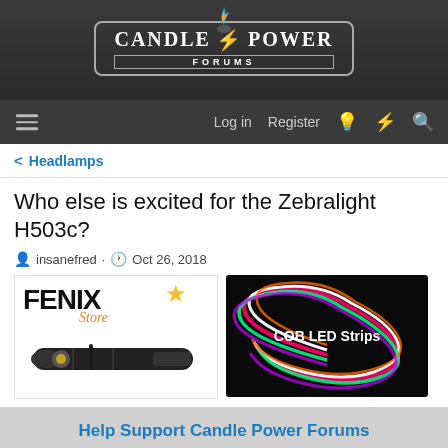CANDLE POWER FORUMS
Log in  Register
< Headlamps
Who else is excited for the Zebralight H503c?
insanefred · Oct 26, 2018
[Figure (photo): Fenix Store advertisement with flashlight image]
[Figure (photo): COB LED Strips advertisement with colorful LED light strips]
Help Support Candle Power Forums
Donate